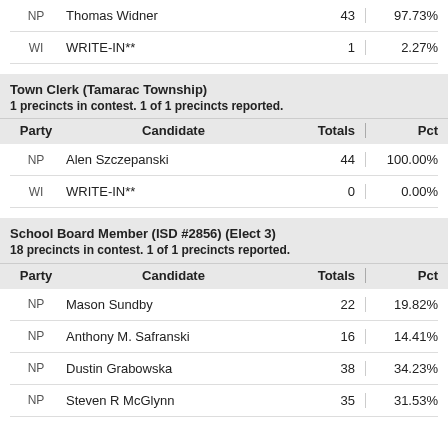| Party | Candidate | Totals | Pct |
| --- | --- | --- | --- |
| NP | Thomas Widner | 43 | 97.73% |
| WI | WRITE-IN** | 1 | 2.27% |
Town Clerk (Tamarac Township)
1 precincts in contest. 1 of 1 precincts reported.
| Party | Candidate | Totals | Pct |
| --- | --- | --- | --- |
| NP | Alen Szczepanski | 44 | 100.00% |
| WI | WRITE-IN** | 0 | 0.00% |
School Board Member (ISD #2856) (Elect 3)
18 precincts in contest. 1 of 1 precincts reported.
| Party | Candidate | Totals | Pct |
| --- | --- | --- | --- |
| NP | Mason Sundby | 22 | 19.82% |
| NP | Anthony M. Safranski | 16 | 14.41% |
| NP | Dustin Grabowska | 38 | 34.23% |
| NP | Steven R McGlynn | 35 | 31.53% |